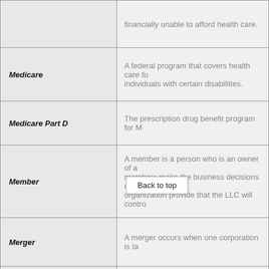| Term | Definition |
| --- | --- |
| (partial/cut-off term) | financially unable to afford health care. |
| Medicare | A federal program that covers health care fo... individuals with certain disabilities. |
| Medicare Part D | The prescription drug benefit program for M... |
| Member | A member is a person who is an owner of a... members make the business decisions of a... organization provide that the LLC will contro... |
| Merger | A merger occurs when one corporation is ta... |
| Minimum Participation Requirements | Generally, a par...ipant must be... years ol... for one year to receive benefits from an emp... |
| Minority Interest | The equity of all shareholders who do not h... company. |
| (next row partial) |  |